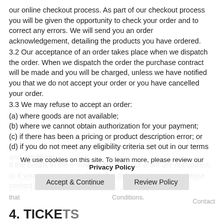our online checkout process. As part of our checkout process you will be given the opportunity to check your order and to correct any errors. We will send you an order acknowledgement, detailing the products you have ordered.
3.2 Our acceptance of an order takes place when we dispatch the order. When we dispatch the order the purchase contract will be made and you will be charged, unless we have notified you that we do not accept your order or you have cancelled your order.
3.3 We may refuse to accept an order:
(a) where goods are not available;
(b) where we cannot obtain authorization for your payment;
(c) if there has been a pricing or product description error; or
(d) if you do not meet any eligibility criteria set out in our terms and conditions.
If the details in the e-mail confirming your order are not correct, or if you are not satisfied with the details in the e-mail, please contact us here
All order confirmation emails will be supplied in English. Where we accept your order, we have a legal duty to supply goods that conform with this Terms and Conditions.
We use cookies on this site. To learn more, please review our Privacy Policy
4. TICKETS